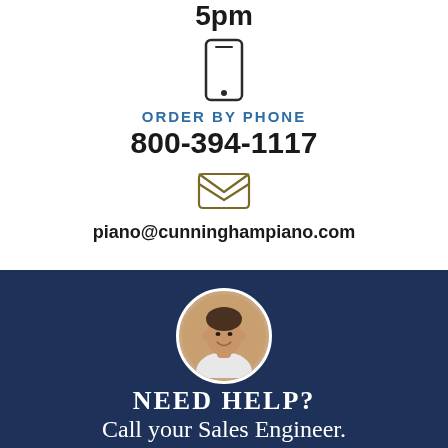5pm
[Figure (illustration): Phone/mobile icon (outline of a smartphone)]
ORDER BY PHONE
800-394-1117
[Figure (illustration): Open envelope/email icon]
piano@cunninghampiano.com
[Figure (photo): Circular portrait photo of a smiling middle-aged man in a white shirt]
NEED HELP?
Call your Sales Engineer.